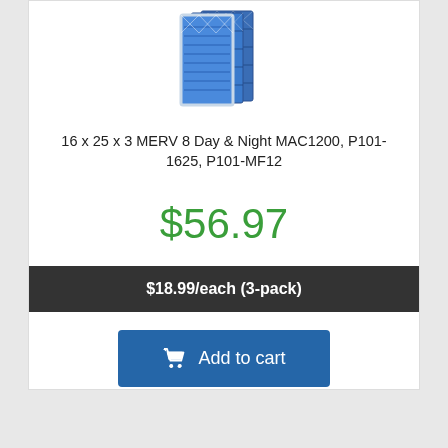[Figure (photo): Air filter product image — a blue pleated MERV 8 air filter pack (16x25x3), three-pack shown at an angle with a white diamond-pattern cardboard frame.]
16 x 25 x 3 MERV 8 Day & Night MAC1200, P101-1625, P101-MF12
$56.97
$18.99/each (3-pack)
Add to cart